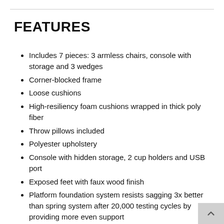FEATURES
Includes 7 pieces: 3 armless chairs, console with storage and 3 wedges
Corner-blocked frame
Loose cushions
High-resiliency foam cushions wrapped in thick poly fiber
Throw pillows included
Polyester upholstery
Console with hidden storage, 2 cup holders and USB port
Exposed feet with faux wood finish
Platform foundation system resists sagging 3x better than spring system after 20,000 testing cycles by providing more even support
Smooth platform foundation maintains tight, wrinkle-free look without dips or sags that can occur over time with sinuous spring